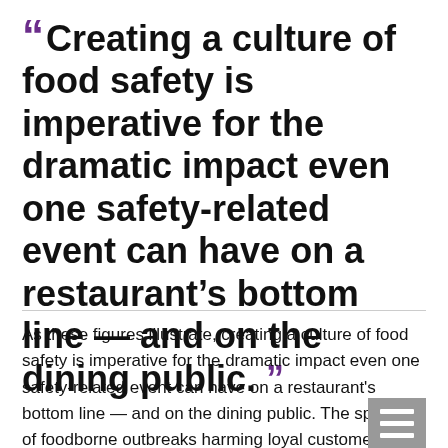“Creating a culture of food safety is imperative for the dramatic impact even one safety-related event can have on a restaurant’s bottom line — and on the dining public.”
As these figures illustrate, creating a culture of food safety is imperative for the dramatic impact even one safety-related event can have on a restaurant's bottom line — and on the dining public. The spec[ter of] foodborne outbreaks harming loyal customers an[d] toppling businesses virtually overnight provided the